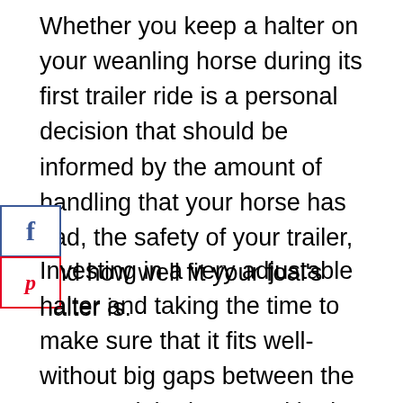Whether you keep a halter on your weanling horse during its first trailer ride is a personal decision that should be informed by the amount of handling that your horse has had, the safety of your trailer, and how well fit your foal's halter is.
Investing in a very adjustable halter and taking the time to make sure that it fits well-without big gaps between the strap and the horse's skin- is a best practice to reduce the chance of a halter getting caught on something. Many horse breeders will include a breakaway leather halter with the sale of a